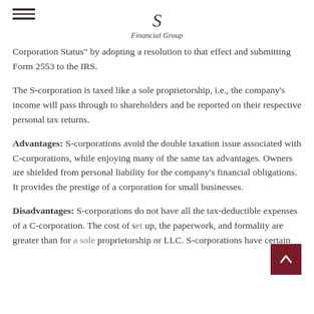Financial Group logo and navigation
Corporation Status" by adopting a resolution to that effect and submitting Form 2553 to the IRS.
The S-corporation is taxed like a sole proprietorship, i.e., the company's income will pass through to shareholders and be reported on their respective personal tax returns.
Advantages: S-corporations avoid the double taxation issue associated with C-corporations, while enjoying many of the same tax advantages. Owners are shielded from personal liability for the company's financial obligations. It provides the prestige of a corporation for small businesses.
Disadvantages: S-corporations do not have all the tax-deductible expenses of a C-corporation. The cost of set up, the paperwork, and formality are greater than for a sole proprietorship or LLC. S-corporations have certain